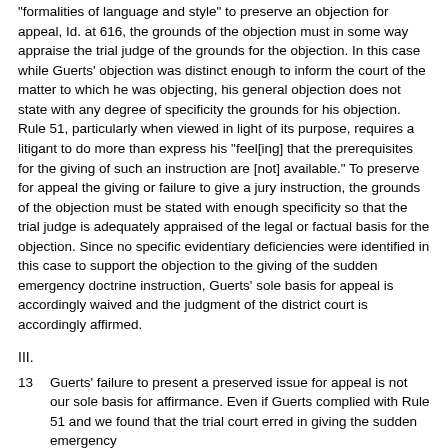"formalities of language and style" to preserve an objection for appeal, Id. at 616, the grounds of the objection must in some way appraise the trial judge of the grounds for the objection. In this case while Guerts' objection was distinct enough to inform the court of the matter to which he was objecting, his general objection does not state with any degree of specificity the grounds for his objection. Rule 51, particularly when viewed in light of its purpose, requires a litigant to do more than express his "feel[ing] that the prerequisites for the giving of such an instruction are [not] available." To preserve for appeal the giving or failure to give a jury instruction, the grounds of the objection must be stated with enough specificity so that the trial judge is adequately appraised of the legal or factual basis for the objection. Since no specific evidentiary deficiencies were identified in this case to support the objection to the giving of the sudden emergency doctrine instruction, Guerts' sole basis for appeal is accordingly waived and the judgment of the district court is accordingly affirmed.
III.
13  Guerts' failure to present a preserved issue for appeal is not our sole basis for affirmance. Even if Guerts complied with Rule 51 and we found that the trial court erred in giving the sudden emergency